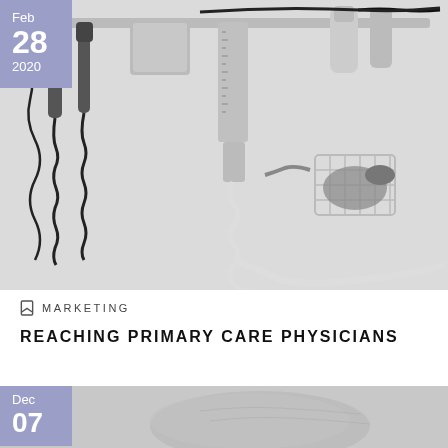[Figure (photo): Black and white photo of medical diagnostic equipment mounted on a wall, including otoscopes, ophthalmoscopes, a sphygmomanometer, and a blood pressure cuff in a wire basket, with black coiled cords hanging down.]
MARKETING
REACHING PRIMARY CARE PHYSICIANS
[Figure (photo): Black and white photo of a hand (palm facing up), partially visible at the bottom of the page, with a date badge showing Dec 07.]